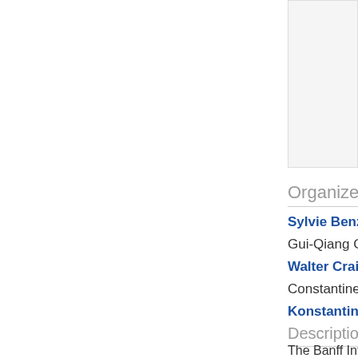[Figure (photo): Event or person image placeholder in upper right area]
Organizers
Sylvie Benzoni
Gui-Qiang Che
Walter Craig (M
Constantine Da
Konstantina Tr
Description
The Banff Inte Laws and Rela